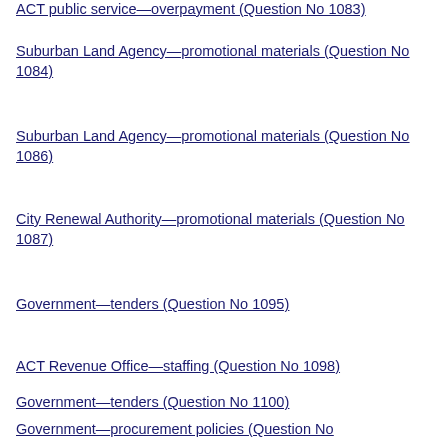ACT public service—overpayment (Question No 1083)
Suburban Land Agency—promotional materials (Question No 1084)
Suburban Land Agency—promotional materials (Question No 1086)
City Renewal Authority—promotional materials (Question No 1087)
Government—tenders (Question No 1095)
ACT Revenue Office—staffing (Question No 1098)
Government—tenders (Question No 1100)
Government—procurement policies (Question No